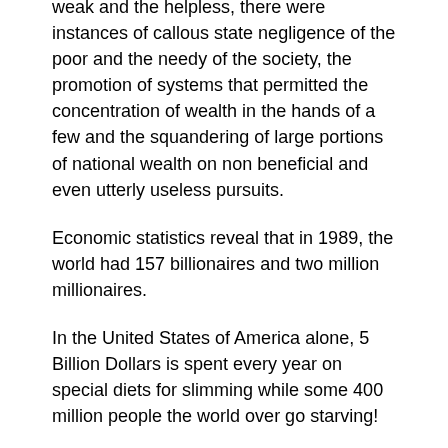weak and the helpless, there were instances of callous state negligence of the poor and the needy of the society, the promotion of systems that permitted the concentration of wealth in the hands of a few and the squandering of large portions of national wealth on non beneficial and even utterly useless pursuits.
Economic statistics reveal that in 1989, the world had 157 billionaires and two million millionaires.
In the United States of America alone, 5 Billion Dollars is spent every year on special diets for slimming while some 400 million people the world over go starving!
The distinctions between the have’s and the have not’s have become so wide and emphatic that they make for sharp contrast, resentment and bitterness.
There is no gainsaying in the fact, therefore, that the existing economic systems of the world have woefully